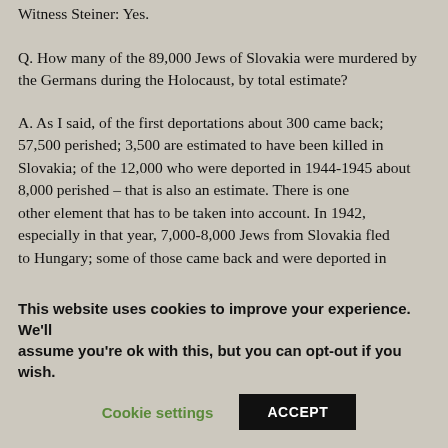Witness Steiner: Yes.
Q. How many of the 89,000 Jews of Slovakia were murdered by the Germans during the Holocaust, by total estimate?
A. As I said, of the first deportations about 300 came back; 57,500 perished; 3,500 are estimated to have been killed in Slovakia; of the 12,000 who were deported in 1944-1945 about 8,000 perished – that is also an estimate. There is one other element that has to be taken into account. In 1942, especially in that year, 7,000-8,000 Jews from Slovakia fled to Hungary; some of those came back and were deported in
This website uses cookies to improve your experience. We'll assume you're ok with this, but you can opt-out if you wish.
Cookie settings    ACCEPT